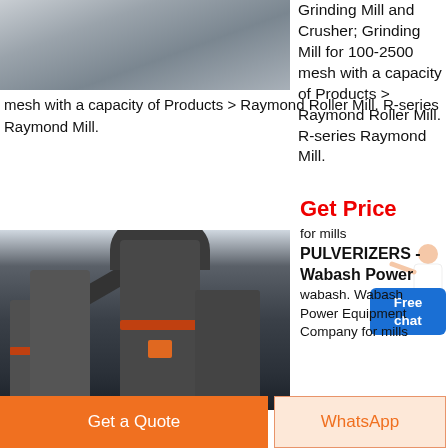[Figure (photo): Top photo of industrial grinding mill machinery in a facility, partially visible at top of page]
Grinding Mill and Crusher; Grinding Mill for 100-2500 mesh with a capacity of Products > Raymond Roller Mill. R-series Raymond Mill.
[Figure (photo): Large industrial pulverizer/grinding mill machines inside a warehouse-like facility]
Get Price
Free
chat
for mills PULVERIZERS - Wabash Power
wabash. Wabash Power Equipment Company for mills
Get a Quote
WhatsApp